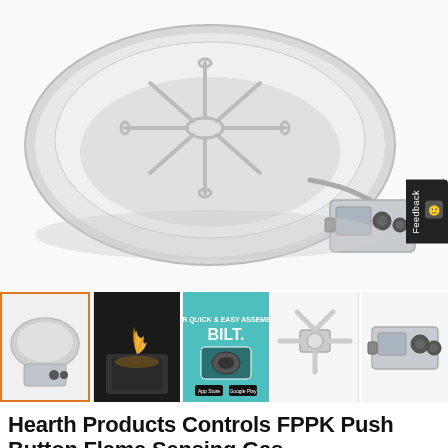[Figure (photo): Main product photo of a stainless steel fire pit bowl with star-shaped gas burner and an electronic ignition control box with two knobs, shown on white background]
[Figure (photo): Thumbnail 1 (active/selected): fire pit bowl product shot, selected with orange border]
[Figure (photo): Thumbnail 2: dark photo of fire pit in use with tall flames on concrete block base]
[Figure (photo): Thumbnail 3: BILT app instruction card with teal background]
[Figure (photo): Thumbnail 4: close-up of stainless steel burner and igniter connection]
[Figure (photo): Thumbnail 5: close-up of the electronic control/ignition box]
Hearth Products Controls FPPK Push Button Flame Sensing Gas